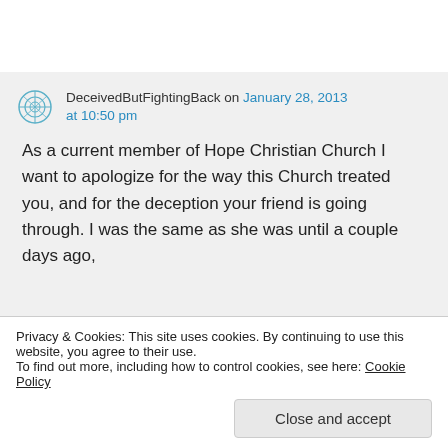DeceivedButFightingBack on January 28, 2013 at 10:50 pm
As a current member of Hope Christian Church I want to apologize for the way this Church treated you, and for the deception your friend is going through. I was the same as she was until a couple days ago,
Privacy & Cookies: This site uses cookies. By continuing to use this website, you agree to their use.
To find out more, including how to control cookies, see here: Cookie Policy
Close and accept